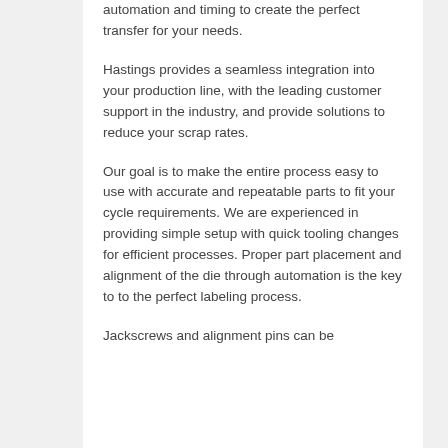automation and timing to create the perfect transfer for your needs.
Hastings provides a seamless integration into your production line, with the leading customer support in the industry, and provide solutions to reduce your scrap rates.
Our goal is to make the entire process easy to use with accurate and repeatable parts to fit your cycle requirements. We are experienced in providing simple setup with quick tooling changes for efficient processes. Proper part placement and alignment of the die through automation is the key to to the perfect labeling process.
Jackscrews and alignment pins can be